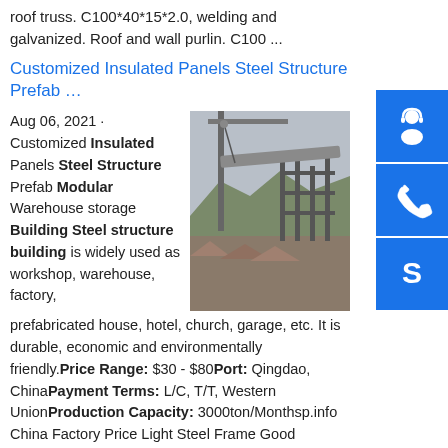roof truss. C100*40*15*2.0, welding and galvanized. Roof and wall purlin. C100 ...
Customized Insulated Panels Steel Structure Prefab …
Aug 06, 2021 · Customized Insulated Panels Steel Structure Prefab Modular Warehouse storage Building Steel structure building is widely used as workshop, warehouse, factory, prefabricated house, hotel, church, garage, etc. It is durable, economic and environmentally friendly. Price Range: $30 - $80 Port: Qingdao, China Payment Terms: L/C, T/T, Western Union Production Capacity: 3000ton/Month sp.info China Factory Price Light Steel Frame Good Insulated Real ...weifang zontop Steel Structure Co.,Ltd is located in the Kite City weifang. It is
[Figure (photo): Construction photo showing a crane lifting a steel beam over a partially constructed building skeleton.]